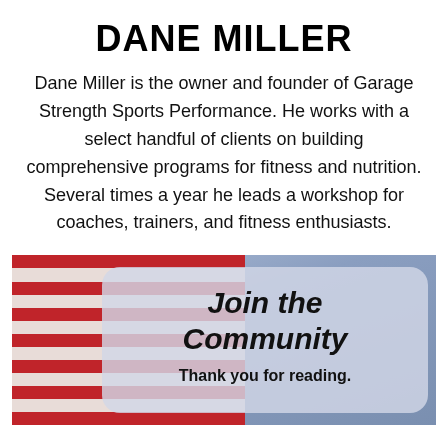DANE MILLER
Dane Miller is the owner and founder of Garage Strength Sports Performance. He works with a select handful of clients on building comprehensive programs for fitness and nutrition. Several times a year he leads a workshop for coaches, trainers, and fitness enthusiasts.
[Figure (illustration): American flag image in background with a semi-transparent rounded rectangle overlay displaying 'Join the Community' in bold italic text and 'Thank you for reading.' below it]